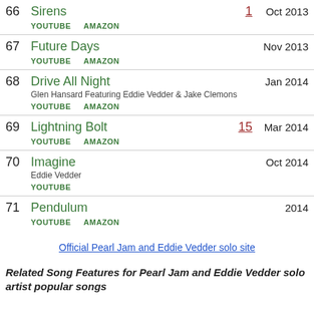66 Sirens YOUTUBE AMAZON Oct 2013
67 Future Days YOUTUBE AMAZON Nov 2013
68 Drive All Night — Glen Hansard Featuring Eddie Vedder & Jake Clemons YOUTUBE AMAZON Jan 2014
69 Lightning Bolt 15 YOUTUBE AMAZON Mar 2014
70 Imagine — Eddie Vedder YOUTUBE Oct 2014
71 Pendulum YOUTUBE AMAZON 2014
Official Pearl Jam and Eddie Vedder solo site
Related Song Features for Pearl Jam and Eddie Vedder solo artist popular songs